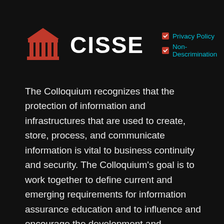[Figure (logo): CISSE logo with a red ancient Greek/Roman columns building icon on the left, large white bold text 'CISSE' in the center, and two teal-colored policy links on the right: 'Privacy Policy' and 'Non-Descrimination', each preceded by a red checkbox with a white checkmark.]
The Colloquium recognizes that the protection of information and infrastructures that are used to create, store, process, and communicate information is vital to business continuity and security. The Colloquium's goal is to work together to define current and emerging requirements for information assurance education and to influence and encourage the development and expansion of information assurance curricula, especially at the graduate and undergraduate levels.